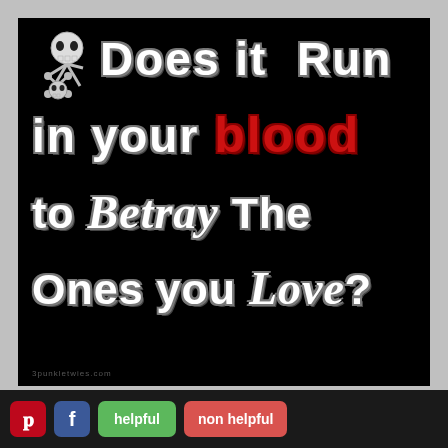[Figure (illustration): Black background image with stylized white outlined text reading 'Does it Run in your blood to Betray The Ones you Love?' with the word 'blood' in red, and a skull/roller derby skater graphic in the top left corner. Watermark reads 3punkletwies.com]
[Figure (infographic): Bottom dark bar with Pinterest (P) button in red, Facebook (f) button in blue, green 'helpful' button, and red 'non helpful' button]